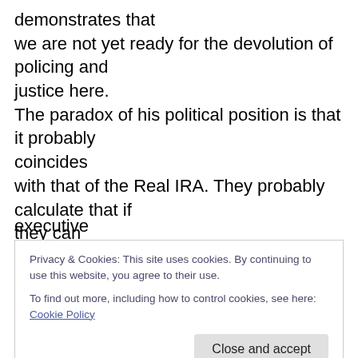demonstrates that we are not yet ready for the devolution of policing and justice here. The paradox of his political position is that it probably coincides with that of the Real IRA. They probably calculate that if they can scare the Unionists out of devolution, that that would be the shortest route to undermining and even bringing down the executive
Privacy & Cookies: This site uses cookies. By continuing to use this website, you agree to their use. To find out more, including how to control cookies, see here: Cookie Policy
could